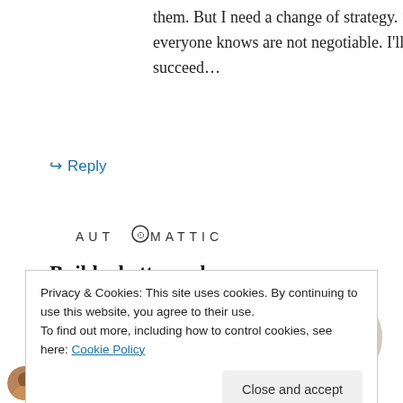them. But I need a change of strategy. Some clear rules that everyone knows are not negotiable. I'll let you know if I succeed…
↪ Reply
[Figure (logo): Automattic logo in spaced caps with compass/clock icon replacing the O]
Build a better web and a better world.
[Figure (illustration): Apply button (blue/steel blue) and circular photo of a man thinking with hand on chin]
Privacy & Cookies: This site uses cookies. By continuing to use this website, you agree to their use.
To find out more, including how to control cookies, see here: Cookie Policy
Close and accept
Kim on May 2, 2013 at 9:15 pm